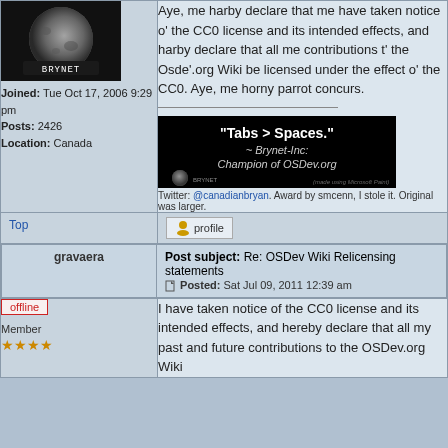[Figure (photo): Avatar image of a moon with BRYNET label]
Joined: Tue Oct 17, 2006 9:29 pm
Posts: 2426
Location: Canada
Aye, me harby declare that me have taken notice o' the CC0 license and its intended effects, and harby declare that all me contributions t' the Osde'.org Wiki be licensed under the effect o' the CC0. Aye, me horny parrot concurs.
[Figure (illustration): Black banner with text: Tabs > Spaces. ~ Brynet-Inc: Champion of OSDev.org]
Twitter: @canadianbryan. Award by smcenn, I stole it. Original was larger.
Top
profile
Post subject: Re: OSDev Wiki Relicensing statements
Posted: Sat Jul 09, 2011 12:39 am
gravaera
offline
Member
I have taken notice of the CC0 license and its intended effects, and hereby declare that all my past and future contributions to the OSDev.org Wiki